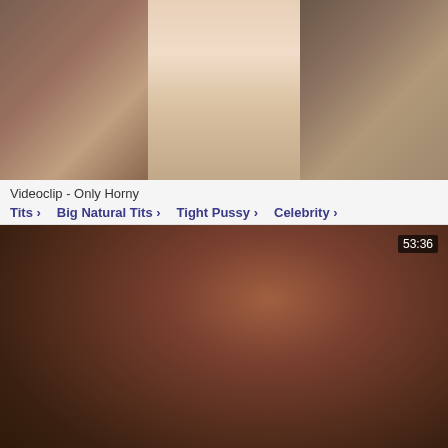[Figure (photo): Video thumbnail collage showing adult content, three-panel composite image]
Videoclip - Only Horny
Tits > Big Natural Tits > Tight Pussy > Celebrity >
[Figure (photo): Adult video thumbnail with duration badge showing 53:36]